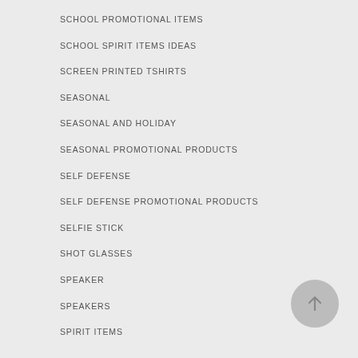SCHOOL PROMOTIONAL ITEMS
SCHOOL SPIRIT ITEMS IDEAS
SCREEN PRINTED TSHIRTS
SEASONAL
SEASONAL AND HOLIDAY
SEASONAL PROMOTIONAL PRODUCTS
SELF DEFENSE
SELF DEFENSE PROMOTIONAL PRODUCTS
SELFIE STICK
SHOT GLASSES
SPEAKER
SPEAKERS
SPIRIT ITEMS